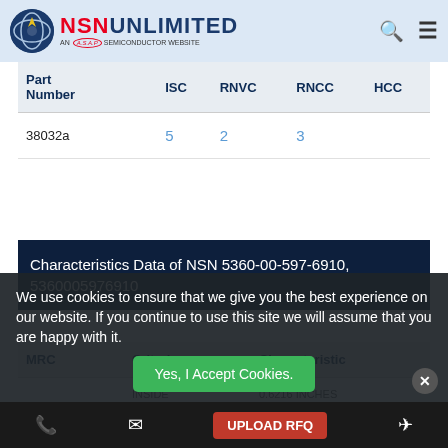NSN UNLIMITED - AN A.S.A.P SEMICONDUCTOR WEBSITE
| Part Number | ISC | RNVC | RNCC | HCC |
| --- | --- | --- | --- | --- |
| 38032a | 5 | 2 | 3 |  |
Characteristics Data of NSN 5360-00-597-6910, 5360005976910
| MRC | Criteria | Characteristic |
| --- | --- | --- |
|  | INSIDE DIAMETER | 0.6216 INCHES MINIMUM AND 0.6416 INCHES MAXIMUM |
We use cookies to ensure that we give you the best experience on our website. If you continue to use this site we will assume that you are happy with it.
Yes, I Accept Cookies. | UPLOAD RFQ